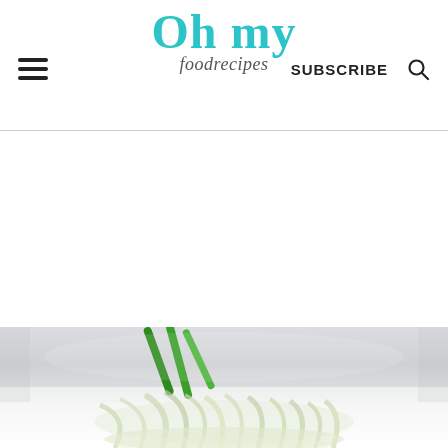Oh my foodrecipes | SUBSCRIBE
[Figure (photo): Food photo showing green vegetables (likely green onions/scallions and julienned vegetables) on a light grey/white background]